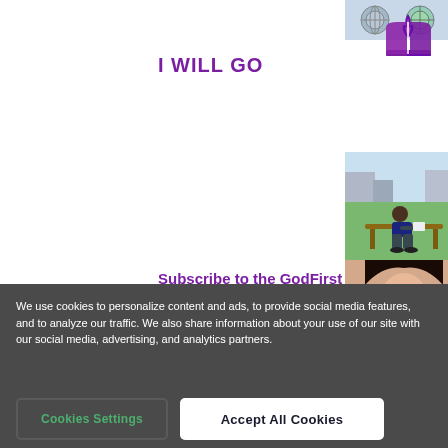[Figure (photo): Globe or gears image, top right area]
[Figure (logo): Adventist church logo with flame/book icon, purple, top right corner]
I WILL GO
[Figure (photo): Man sitting on a bench outdoors reading]
Subscribe to the GodFirst newsletter.
[Figure (photo): Woman with eyes closed, partial view at bottom]
We use cookies to personalize content and ads, to provide social media features, and to analyze our traffic. We also share information about your use of our site with our social media, advertising, and analytics partners.
Cookies Settings
Accept All Cookies